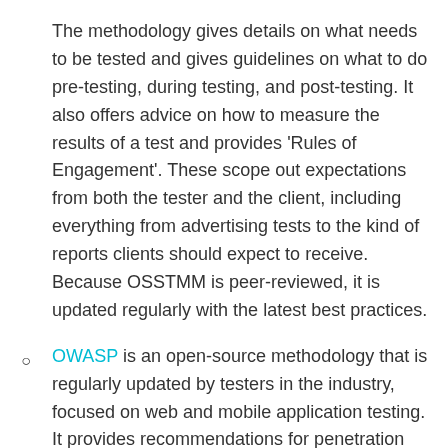The methodology gives details on what needs to be tested and gives guidelines on what to do pre-testing, during testing, and post-testing. It also offers advice on how to measure the results of a test and provides 'Rules of Engagement'. These scope out expectations from both the tester and the client, including everything from advertising tests to the kind of reports clients should expect to receive. Because OSSTMM is peer-reviewed, it is updated regularly with the latest best practices.
OWASP is an open-source methodology that is regularly updated by testers in the industry, focused on web and mobile application testing. It provides recommendations for penetration testing tools, as well as guidelines and documents to guide testing engagements. OWASP takes a people, process...